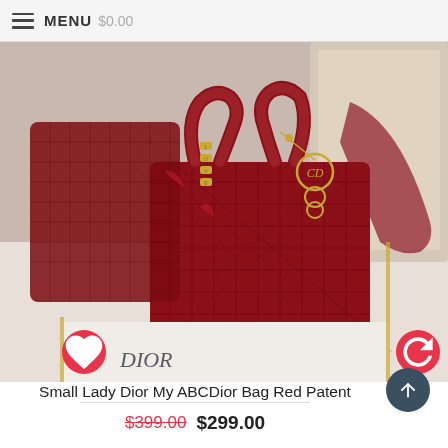MENU $0.00
[Figure (photo): Red patent leather Lady Dior My ABCDior small handbag with gold hardware, LOVE strap charms, and Dior logo charms, displayed on a white surface]
Small Lady Dior My ABCDior Bag Red Patent
$399.00  $299.00